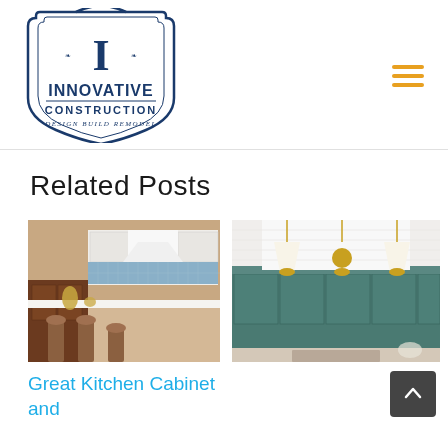[Figure (logo): Innovative Construction - Design Build Remodel logo with decorative shield/crest shape in navy blue]
[Figure (other): Hamburger menu icon with three horizontal yellow/gold lines]
Related Posts
[Figure (photo): Kitchen interior with wood cabinets, white upper cabinets, blue tile backsplash, gold fixtures, and bar stools]
[Figure (photo): Kitchen interior with dark teal/green cabinets, white pendant lights with gold accents, and white shiplap walls]
Great Kitchen Cabinet and